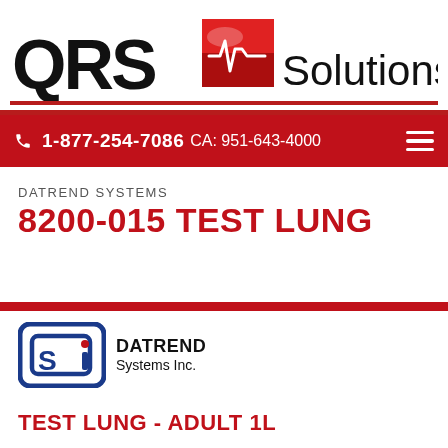[Figure (logo): QRS Solutions logo with red ECG icon and text]
1-877-254-7086 CA: 951-643-4000
DATREND SYSTEMS
8200-015 TEST LUNG
[Figure (logo): Datrend Systems Inc. logo with blue stylized SI icon]
TEST LUNG - ADULT 1L